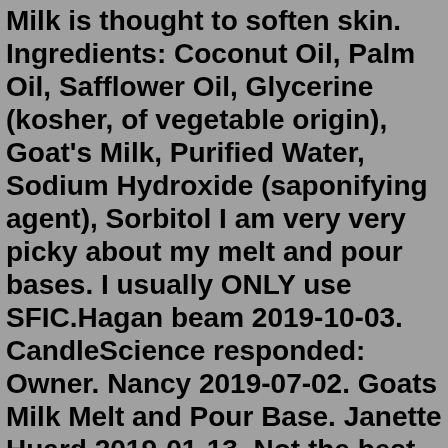Milk is thought to soften skin. Ingredients: Coconut Oil, Palm Oil, Safflower Oil, Glycerine (kosher, of vegetable origin), Goat's Milk, Purified Water, Sodium Hydroxide (saponifying agent), Sorbitol I am very very picky about my melt and pour bases. I usually ONLY use SFIC.Hagan beam 2019-10-03. CandleScience responded: Owner. Nancy 2019-07-02. Goats Milk Melt and Pour Base. Janette Huard 2019-01-13. Not the best that Stephenson makes! Lisa 2018-12-06. Sweating and beading. This goat milk melt and pour soap bar is super easy to make with natural ingredients. For now, I am making an easy homemade goat milk soap using a melt and pour goat milk soap base. So with this simple process, you can have your own soap at home without a complicated soap making process!SFIC Goat's Milk Melt and Pour Soap Base is easy to use. Just cut into cubes, place in heat safe container, microwave in 10 to 30 second intervals, stir between each, add fragrance and color of choice, pour into mold, allow to fully cool and harden, unmold and enjoy after 4 to 24 hours. Ingredients: Coconut Oil